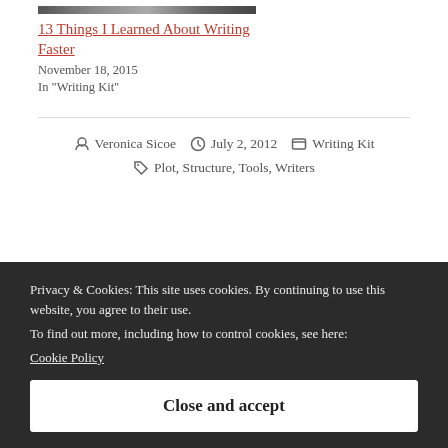[Figure (photo): Partial image strip at top of article preview]
13 Things I Learned About Writing Faster
November 18, 2015
In "Writing Kit"
By Veronica Sicoe   July 2, 2012   Writing Kit
Plot, Structure, Tools, Writers
Privacy & Cookies: This site uses cookies. By continuing to use this website, you agree to their use.
To find out more, including how to control cookies, see here:
Cookie Policy
Close and accept